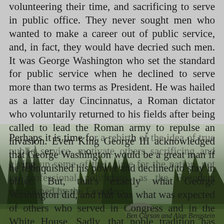volunteering their time, and sacrificing to serve in public office. They never sought men who wanted to make a career out of public service, and, in fact, they would have decried such men. It was George Washington who set the standard for public service when he declined to serve more than two terms as President. He was hailed as a latter day Cincinnatus, a Roman dictator who voluntarily returned to his fields after being called to lead the Roman army to repulse an invasion. Even King George III acknowledged that George Washington would be a great man if he relinquished his power and declined to stay in office. But, that's exactly what George Washington did, and that was what was expected of others who served in Congress and in the White House. Sadly, that noble tradition has long passed away. Not too long ago a Democratic member of Congress from New York was asked about public service and he simply dismissed the idea as being out of date.
Perhaps it is time for a rebirth of the idea of true public service, motivate others sacrificing and giving up some of their time for the nation, not as professional politicians, as the Founders envisioned by the Founders.
Ben Carson and Alan Bergstein